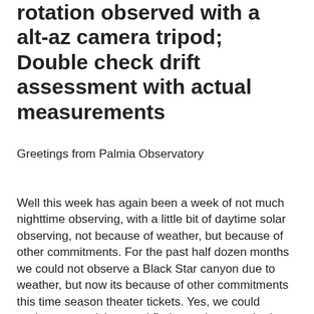rotation observed with a alt-az camera tripod; Double check drift assessment with actual measurements
Greetings from Palmia Observatory
Well this week has again been a week of not much nighttime observing, with a little bit of daytime solar observing, not because of weather, but because of other commitments.  For the past half dozen months we could not observe a Black Star canyon due to weather, but now its because of other commitments this time season theater tickets.  Yes, we could exchange our tickets and find ourselves perched up in the nosebleed seats on the new date, but we chose not to do that.  Besides, I would have had to disassemble my rolling tripod assembly and pack up the scope and mount and I still haven't had a chance to go outside and try the whole thing out yet.  But, some exciting things have happened like, getting new equipment accessories and making some solar